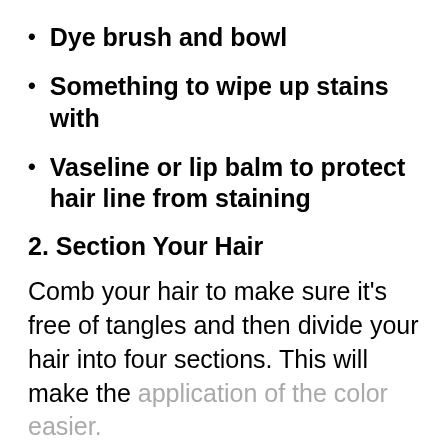Dye brush and bowl
Something to wipe up stains with
Vaseline or lip balm to protect hair line from staining
2. Section Your Hair
Comb your hair to make sure it’s free of tangles and then divide your hair into four sections. This will make the application of the color easier.